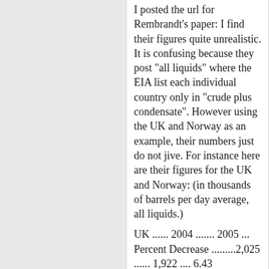I posted the url for Rembrandt's paper: I find their figures quite unrealistic. It is confusing because they post "all liquids" where the EIA list each individual country only in "crude plus condensate". However using the UK and Norway as an example, their numbers just do not jive. For instance here are their figures for the UK and Norway: (in thousands of barrels per day average, all liquids.)
UK ...... 2004 ....... 2005 ... Percent Decrease .........2,025 ...... 1,922 .... 6.43
Norway  2004 ....... 2005